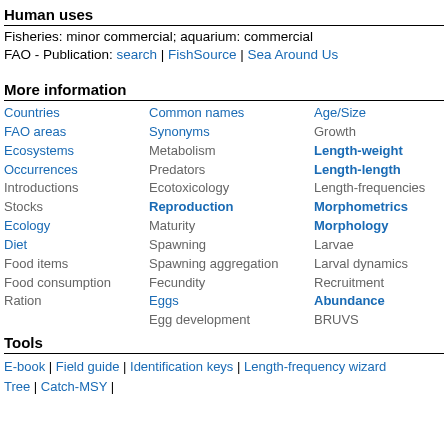Human uses
Fisheries: minor commercial; aquarium: commercial
FAO - Publication: search | FishSource | Sea Around Us
More information
| Countries | Common names | Age/Size |
| FAO areas | Synonyms | Growth |
| Ecosystems | Metabolism | Length-weight |
| Occurrences | Predators | Length-length |
| Introductions | Ecotoxicology | Length-frequencies |
| Stocks | Reproduction | Morphometrics |
| Ecology | Maturity | Morphology |
| Diet | Spawning | Larvae |
| Food items | Spawning aggregation | Larval dynamics |
| Food consumption | Fecundity | Recruitment |
| Ration | Eggs | Abundance |
|  | Egg development | BRUVS |
Tools
E-book | Field guide | Identification keys | Length-frequency wizard | Tree | Catch-MSY |